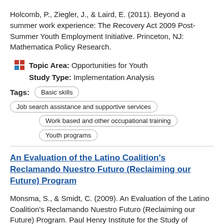Holcomb, P., Ziegler, J., & Laird, E. (2011). Beyond a summer work experience: The Recovery Act 2009 Post-Summer Youth Employment Initiative. Princeton, NJ: Mathematica Policy Research.
Topic Area: Opportunities for Youth
Study Type: Implementation Analysis
Basic skills
Job search assistance and supportive services
Work based and other occupational training
Youth programs
An Evaluation of the Latino Coalition's Reclamando Nuestro Futuro (Reclaiming our Future) Program
Monsma, S., & Smidt, C. (2009). An Evaluation of the Latino Coalition's Reclamando Nuestro Futuro (Reclaiming our Future) Program. Paul Henry Institute for the Study of